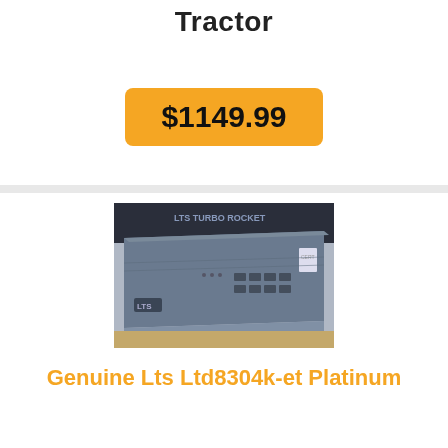Tractor
$1149.99
[Figure (photo): Photo of an LTS brand DVR/NVR rack-mount device, grey/blue colored with buttons on the front panel, LTS logo visible on the lower left of the device]
Genuine Lts Ltd8304k-et Platinum